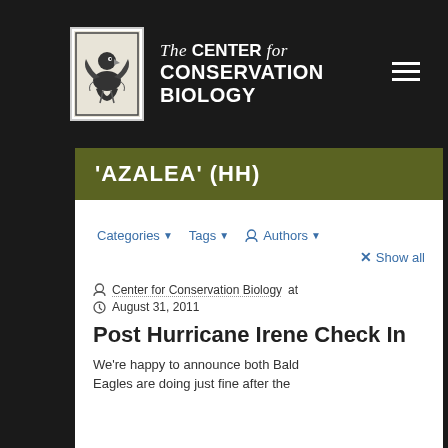[Figure (logo): Center for Conservation Biology logo — bird illustration in black and white square]
The CENTER for CONSERVATION BIOLOGY
'AZALEA' (HH)
Categories ▾   Tags ▾   Authors ▾
× Show all
Center for Conservation Biology at August 31, 2011
Post Hurricane Irene Check In
We're happy to announce both Bald Eagles are doing just fine after the storm. However...